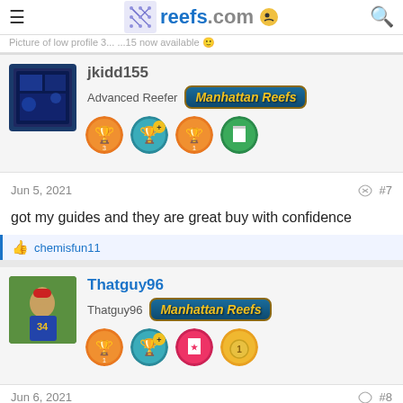reefs.com
Picture of low profile 3... ...15 now available
jkidd155
Advanced Reefer  Manhattan Reefs
Jun 5, 2021  #7
got my guides and they are great buy with confidence
chemisfun11
Thatguy96
Thatguy96  Manhattan Reefs
Jun 6, 2021  #8